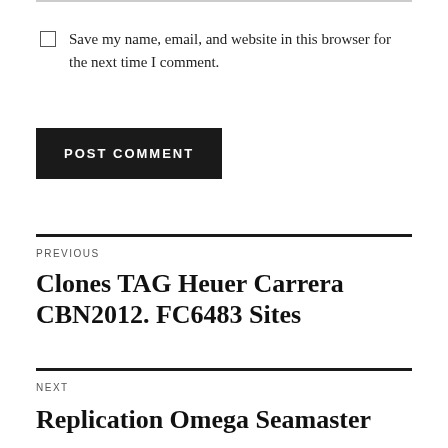Save my name, email, and website in this browser for the next time I comment.
POST COMMENT
PREVIOUS
Clones TAG Heuer Carrera CBN2012. FC6483 Sites
NEXT
Replication Omega Seamaster